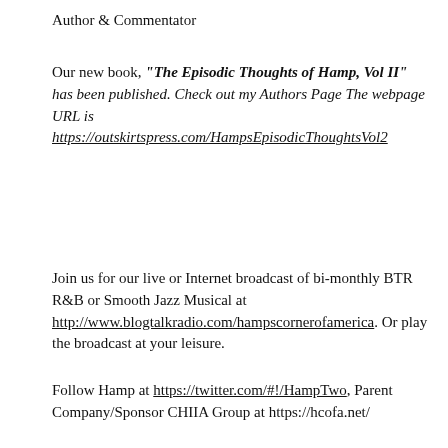Author & Commentator
Our new book, "The Episodic Thoughts of Hamp, Vol II" has been published. Check out my Authors Page The webpage URL is https://outskirtspress.com/HampsEpisodicThoughtsVol2
Join us for our live or Internet broadcast of bi-monthly BTR R&B or Smooth Jazz Musical at http://www.blogtalkradio.com/hampscornerofamerica. Or play the broadcast at your leisure.
Follow Hamp at https://twitter.com/#!/HampTwo, Parent Company/Sponsor CHIIA Group at https://hcofa.net/